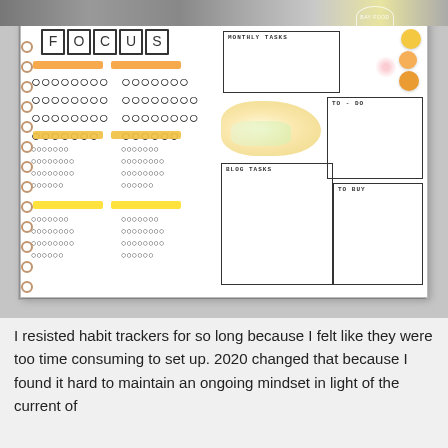[Figure (photo): Photo of an open bullet journal/planner notebook. Left page has 'FOCUS' title in outlined block letters, with orange and yellow highlight bars and rows of small empty circles arranged in grid patterns (habit tracker). Right page has sections labeled 'MONTHLY TASKS', 'TO-DO', 'BLOG TASKS', 'TO BUY' as empty boxes, with watercolor flower decorations and yellow/orange circle stamp stickers in the corner. Markers are visible at the top of the photo. A watermark logo is visible top right.]
I resisted habit trackers for so long because I felt like they were too time consuming to set up. 2020 changed that because I found it hard to maintain an ongoing mindset in light of the current of